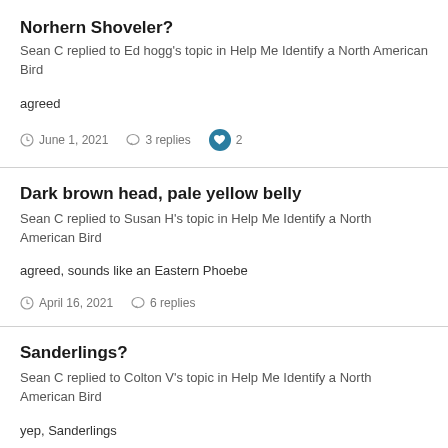Norhern Shoveler?
Sean C replied to Ed hogg's topic in Help Me Identify a North American Bird
agreed
June 1, 2021   3 replies   2
Dark brown head, pale yellow belly
Sean C replied to Susan H's topic in Help Me Identify a North American Bird
agreed, sounds like an Eastern Phoebe
April 16, 2021   6 replies
Sanderlings?
Sean C replied to Colton V's topic in Help Me Identify a North American Bird
yep, Sanderlings